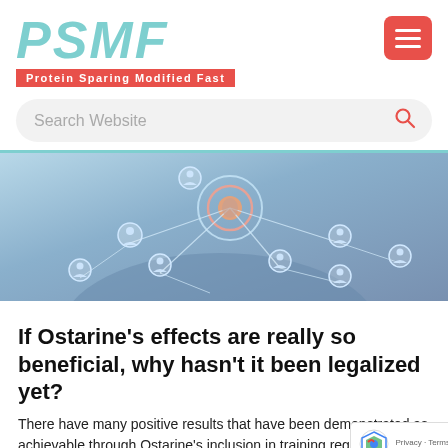PSMF — Protein Sparing Modified Fast
[Figure (screenshot): Website screenshot showing a network/social connection graphic with a hand touching glowing nodes connected by lines, representing network connections between person icons]
If Ostarine’s effects are really so beneficial, why hasn’t it been legalized yet?
There have many positive results that have been demonstrated as achievable through Ostarine’s inclusion in training regimens.